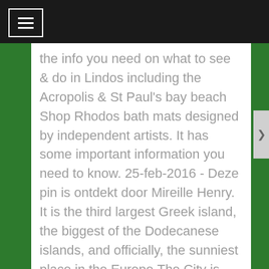[menu icon / navigation bar]
the info you need on what to see & do in Lindos including the Acropolis & St Paul's bay beach Shop Rhodos bath mats designed by independent artists. It has some important information you need to know. 25-feb-2016 - Deze pin is ontdekt door Mireille Henry. It is the third largest Greek island, the biggest of the Dodecanese islands, and officially, the sunniest place in the Europe.The City is among the finest, not only in Greece but in the whole of the Mediterranean. Rhodes (Rhodos or Rodos in Greek), lies between Crete and the near East in the Aegean ocean.Rhodes is famous as the island of sun, sea and sand, the ideal place for vacations. She was born with a beautiful voice